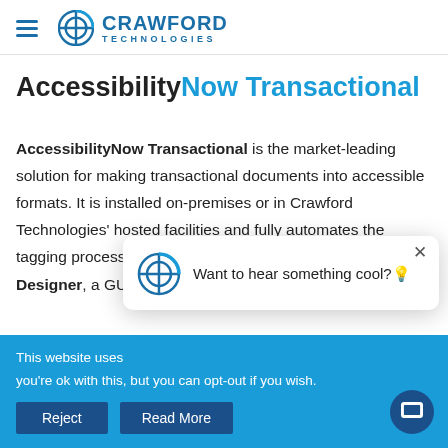Crawford Technologies
AccessibilityNow Transactional
AccessibilityNow Transactional is the market-leading solution for making transactional documents into accessible formats. It is installed on-premises or in Crawford Technologies' hosted facilities and fully automates the tagging process. This software includes AccessibilityNow Designer, a GUI design tool for setting up rules for crea…
This website uses … you're ok with this, but you can opt-out if you wish.
[Figure (screenshot): Popup chat notification: Crawford Technologies logo with text 'Want to hear something cool?!' and a close button]